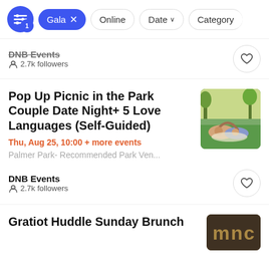Filter bar with: settings icon (badge:1), Gala x, Online, Date, Category
DNB Events
2.7k followers
Pop Up Picnic in the Park Couple Date Night+ 5 Love Languages (Self-Guided)
Thu, Aug 25, 10:00 + more events
Palmer Park- Recommended Park Ven...
DNB Events
2.7k followers
Gratiot Huddle Sunday Brunch